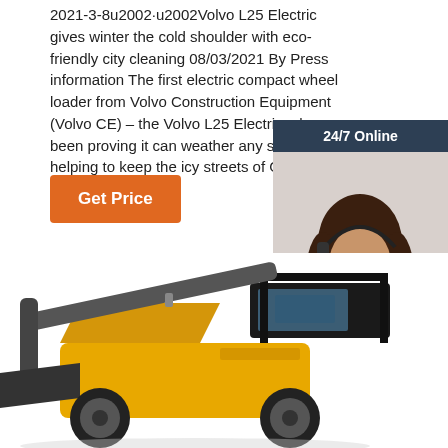2021-3-8u2002-u2002Volvo L25 Electric gives winter the cold shoulder with eco-friendly city cleaning 08/03/2021 By Press information The first electric compact wheel loader from Volvo Construction Equipment (Volvo CE) – the Volvo L25 Electric – has been proving it can weather any storm by helping to keep the icy streets of Germany, clean and clear ...
Get Price
[Figure (photo): 24/7 Online chat widget with a woman wearing a headset, and a QUOTATION button]
[Figure (photo): Yellow compact wheel loader (Volvo L25 Electric) photographed against white background, showing cab and front loader arm]